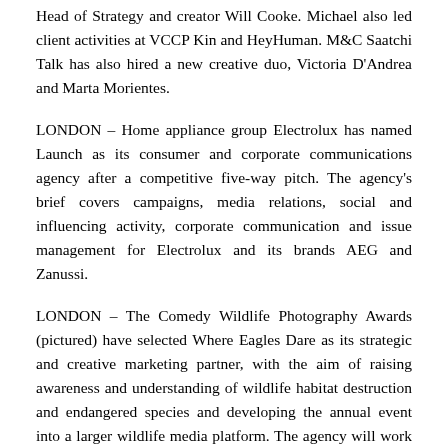Head of Strategy and creator Will Cooke. Michael also led client activities at VCCP Kin and HeyHuman. M&C Saatchi Talk has also hired a new creative duo, Victoria D'Andrea and Marta Morientes.
LONDON – Home appliance group Electrolux has named Launch as its consumer and corporate communications agency after a competitive five-way pitch. The agency's brief covers campaigns, media relations, social and influencing activity, corporate communication and issue management for Electrolux and its brands AEG and Zanussi.
LONDON – The Comedy Wildlife Photography Awards (pictured) have selected Where Eagles Dare as its strategic and creative marketing partner, with the aim of raising awareness and understanding of wildlife habitat destruction and endangered species and developing the annual event into a larger wildlife media platform. The agency will work with the board of directors to define short and long term strategic direction and brand proposition, define and execute creative campaigns on owned, earned and paid channels, and engage partners who share the same ideas, committed to protecting the planet and its animals.
MOSCOW – iMARS Communications will provide public relations